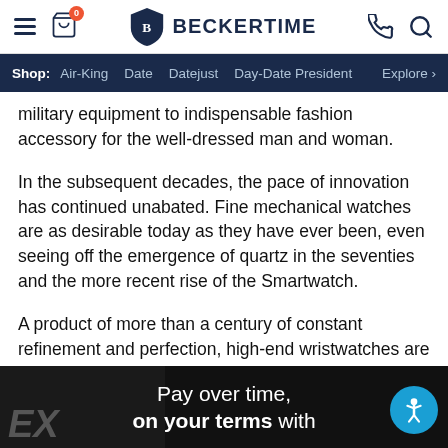BECKERTIME — site header with hamburger menu, cart (0), phone, and search icons
Shop: Air-King  Date  Datejust  Day-Date President  Explore >
military equipment to indispensable fashion accessory for the well-dressed man and woman.
In the subsequent decades, the pace of innovation has continued unabated. Fine mechanical watches are as desirable today as they have ever been, even seeing off the emergence of quartz in the seventies and the more recent rise of the Smartwatch.
A product of more than a century of constant refinement and perfection, high-end wristwatches are still one of the few pieces of jewelry men wear every day—an unmistakably masculine flourish to complete any outfit and one that tells its very own story.
[Figure (screenshot): Advertisement banner: 'Pay over time, on your terms with' on dark background with partial watch image on left and accessibility icon on right]